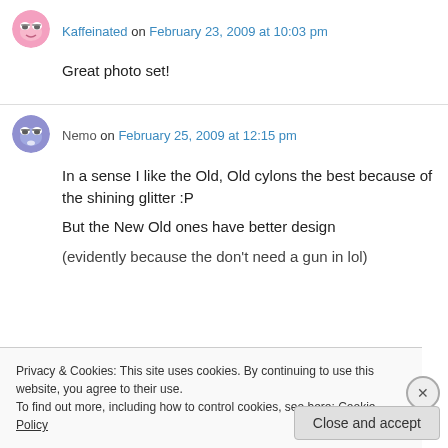[Figure (illustration): Avatar icon of Kaffeinated - pink cartoon face with glasses]
Kaffeinated on February 23, 2009 at 10:03 pm
Great photo set!
[Figure (illustration): Avatar icon of Nemo - purple/blue cartoon face with glasses]
Nemo on February 25, 2009 at 12:15 pm
In a sense I like the Old, Old cylons the best because of the shining glitter :P
But the New Old ones have better design
(evidently because the don't need a gun in lol)
Privacy & Cookies: This site uses cookies. By continuing to use this website, you agree to their use.
To find out more, including how to control cookies, see here: Cookie Policy
Close and accept